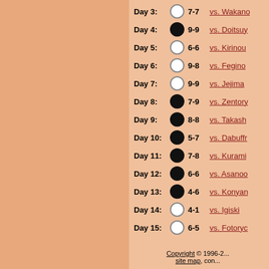Day 3: 7-7 vs. Wakano
Day 4: 9-9 vs. Doitsuy
Day 5: 6-6 vs. Kirinou
Day 6: 9-8 vs. Fegino
Day 7: 9-9 vs. Jejima
Day 8: 7-9 vs. Zentory
Day 9: 8-8 vs. Takash
Day 10: 5-7 vs. Dabuffr
Day 11: 7-8 vs. Kurami
Day 12: 6-6 vs. Asanoo
Day 13: 4-6 vs. Konyan
Day 14: 4-1 vs. Igiski
Day 15: 6-5 vs. Fotoryc
Copyright © 1996-2... site map, con...